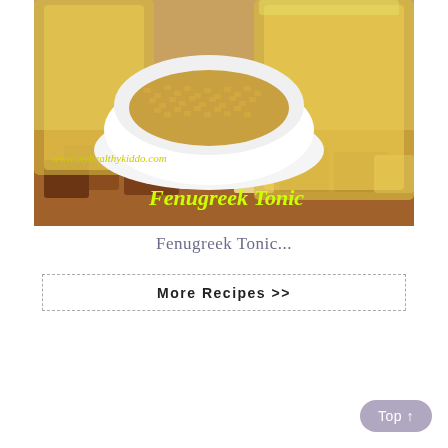[Figure (photo): Photo of fenugreek seeds in a white bowl and two glasses of golden fenugreek tonic drink on wooden coasters, with text 'www.myhealthykiddo.com' and 'Fenugreek Tonic' overlaid in yellow/green italic font.]
Fenugreek Tonic...
More Recipes >>
Top ↑